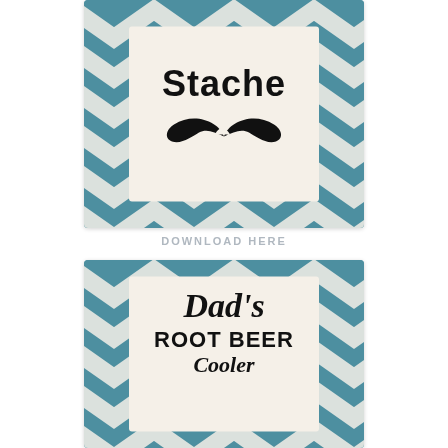[Figure (illustration): Top card with teal chevron background and cream center panel showing 'Stache' text and mustache icon illustration]
DOWNLOAD HERE
[Figure (illustration): Bottom card with teal chevron background and cream center panel showing "Dad's ROOT BEER Cooler" text in script and bold fonts]